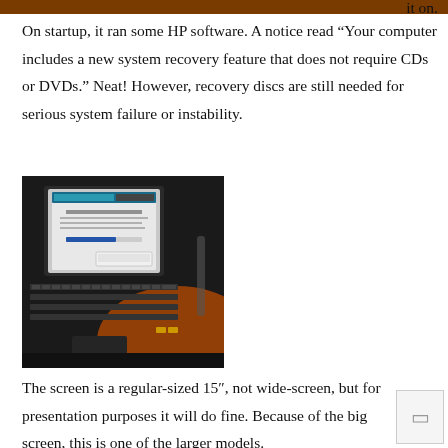it on.
On startup, it ran some HP software. A notice read “Your computer includes a new system recovery feature that does not require CDs or DVDs.” Neat! However, recovery discs are still needed for serious system failure or instability.
[Figure (photo): HP laptop computer showing a software installation screen, with keyboard visible, photographed at an angle on a desk.]
The screen is a regular-sized 15″, not wide-screen, but for presentation purposes it will do fine. Because of the big screen, this is one of the larger models.